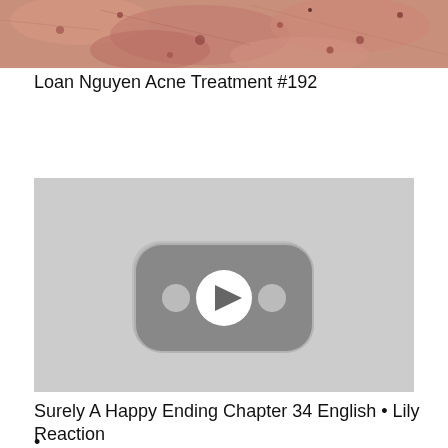[Figure (photo): Close-up photo of acne-prone skin, showing redness and skin blemishes, partially cropped at top of page]
Loan Nguyen Acne Treatment #192
[Figure (screenshot): Video thumbnail placeholder with grey background showing a YouTube-style play button icon (rounded rectangle with play arrow and two dots)]
Surely A Happy Ending Chapter 34 English • Lily Reaction •